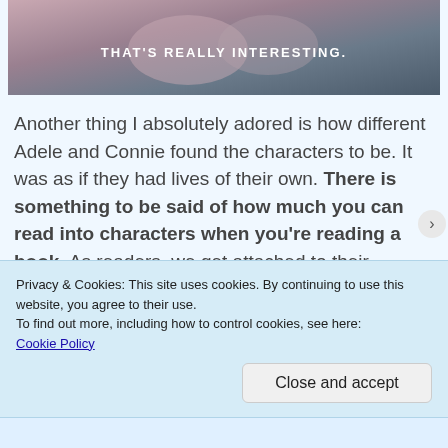[Figure (photo): A blurred photograph of hands, possibly holding something soft, with a white text overlay caption reading THAT'S REALLY INTERESTING.]
Another thing I absolutely adored is how different Adele and Connie found the characters to be. It was as if they had lives of their own. There is something to be said of how much you can read into characters when you're reading a book. As readers, we get attached to their strengths and the beautiful parts of their souls. Sometimes we ignore their darker sides or follies and vice-
Privacy & Cookies: This site uses cookies. By continuing to use this website, you agree to their use.
To find out more, including how to control cookies, see here:
Cookie Policy
Close and accept